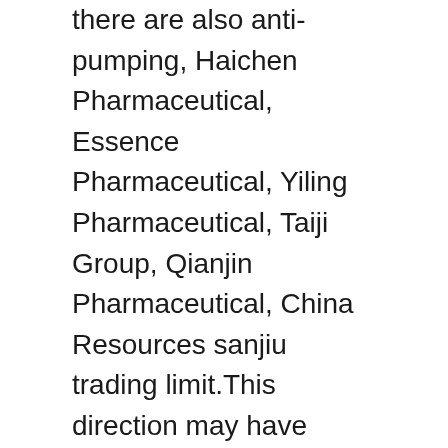there are also anti-pumping, Haichen Pharmaceutical, Essence Pharmaceutical, Yiling Pharmaceutical, Taiji Group, Qianjin Pharmaceutical, China Resources sanjiu trading limit.This direction may have repeated opportunities in the following several trading days. At present, more than 3300 shares have risen for four consecutive trading days. These two sectors are the direction with the biggest decline in the near term, which is easy to form a seesaw effect with other stocks in the market.Overall, the recent performance of individual stocks in the market is stronger than the index, infrastructure and digital economy two directions are the strongest.Because gem refers to the ningde era, the trend is weaker than Shanghai, the market is currently viewed as a bottom.The two cities for 4 consecutive